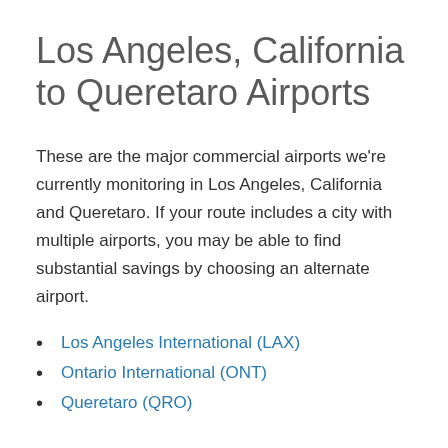Los Angeles, California to Queretaro Airports
These are the major commercial airports we're currently monitoring in Los Angeles, California and Queretaro. If your route includes a city with multiple airports, you may be able to find substantial savings by choosing an alternate airport.
Los Angeles International (LAX)
Ontario International (ONT)
Queretaro (QRO)